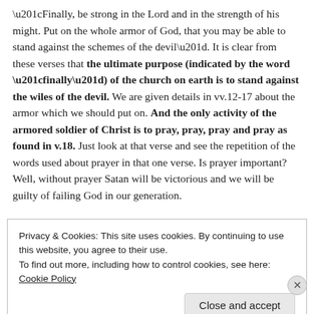“Finally, be strong in the Lord and in the strength of his might. Put on the whole armor of God, that you may be able to stand against the schemes of the devil”. It is clear from these verses that the ultimate purpose (indicated by the word “finally”) of the church on earth is to stand against the wiles of the devil. We are given details in vv.12-17 about the armor which we should put on. And the only activity of the armored soldier of Christ is to pray, pray, pray and pray as found in v.18. Just look at that verse and see the repetition of the words used about prayer in that one verse. Is prayer important? Well, without prayer Satan will be victorious and we will be guilty of failing God in our generation.
Privacy & Cookies: This site uses cookies. By continuing to use this website, you agree to their use.
To find out more, including how to control cookies, see here: Cookie Policy